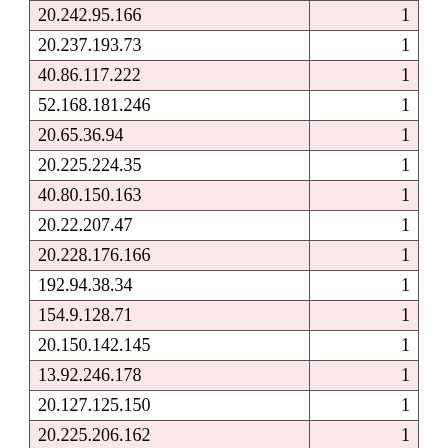| 20.242.95.166 | 1 |
| 20.237.193.73 | 1 |
| 40.86.117.222 | 1 |
| 52.168.181.246 | 1 |
| 20.65.36.94 | 1 |
| 20.225.224.35 | 1 |
| 40.80.150.163 | 1 |
| 20.22.207.47 | 1 |
| 20.228.176.166 | 1 |
| 192.94.38.34 | 1 |
| 154.9.128.71 | 1 |
| 20.150.142.145 | 1 |
| 13.92.246.178 | 1 |
| 20.127.125.150 | 1 |
| 20.225.206.162 | 1 |
| 73.51.184.46 | 1 |
| 13.105.49.34 | 1 |
| 52.165.132.240 | 1 |
| 13.67.143.92 | 1 |
| 20.232.156.200 | 1 |